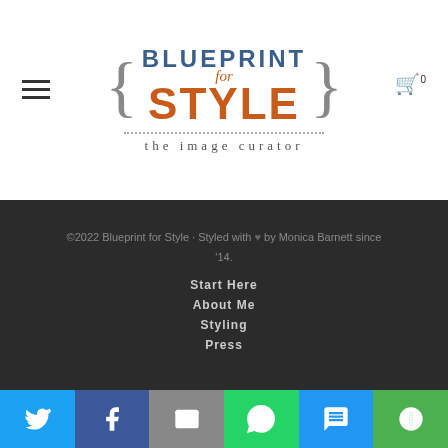[Figure (logo): Blueprint for Style logo with orange STYLE text and gray braces, 'for' in italic, dotted line, and 'the image curator' tagline]
©2022 Blueprint for Style · Styled with ♥ by Monica Barnett since '14.
Start Here
About Me
Styling
Press
[Figure (infographic): Social sharing bar with Twitter, Facebook, Email, WhatsApp, SMS, and More buttons]